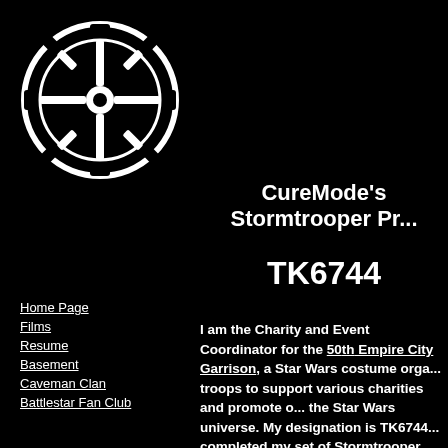[Figure (logo): Star Wars Galactic Empire Imperial cog/gear symbol logo in white on black background]
Home Page
Films
Resume
Basement
Caveman Clan
Battlestar Fan Club
CureMode's Stormtrooper Pr...
TK6744
I am the Charity and Event Coordinator for the 50th Empire City Garrison, a Star Wars costume organization that troops to support various charities and promote our love of the Star Wars universe. My designation is TK6744 and I completed my set of Stormtrooper Armor back in 2... I have an extensive Star Wars collection and costumes of other Star Wars characters as well. Below that are photos of events I attended in 2008 with the Empire City G... The first three are from the ICONS Convention in...